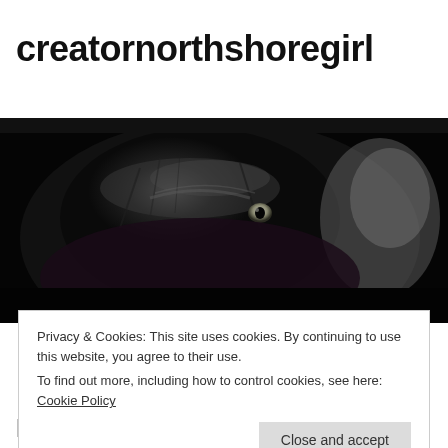creatornorthshoregirl
[Figure (photo): Close-up dark photograph of a small furry animal (appears to be a black cat or similar pet) taken in low light conditions, showing fur and one eye visible]
Privacy & Cookies: This site uses cookies. By continuing to use this website, you agree to their use.
To find out more, including how to control cookies, see here: Cookie Policy
Close and accept
Forgotten the Gift